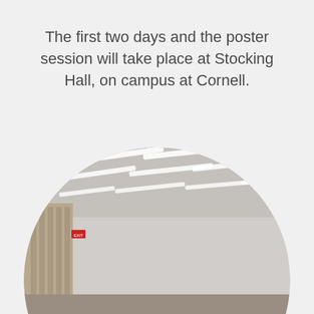The first two days and the poster session will take place at Stocking Hall, on campus at Cornell.
[Figure (photo): Circular-cropped photograph of a modern lecture hall at Stocking Hall, Cornell University, showing rows of tiered seating with desks, overhead fluorescent lighting panels, and neutral-colored walls.]